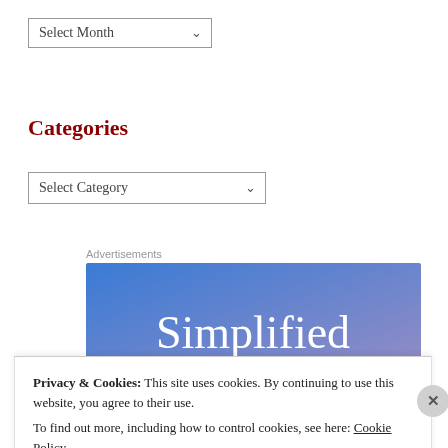Select Month
Categories
Select Category
Advertisements
[Figure (illustration): Advertisement banner with blue-to-purple gradient background and white serif text reading 'Simplified']
Privacy & Cookies: This site uses cookies. By continuing to use this website, you agree to their use. To find out more, including how to control cookies, see here: Cookie Policy
Close and accept